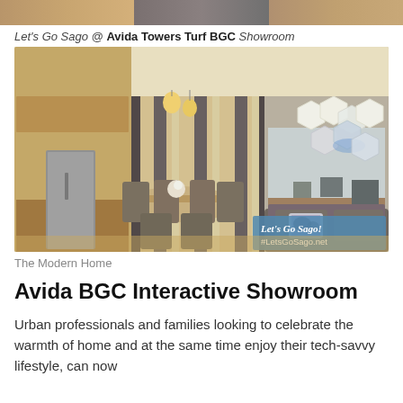[Figure (photo): Top strip of images showing interior/exterior scenes of Avida Towers Turf BGC showroom]
Let's Go Sago @ Avida Towers Turf BGC Showroom
[Figure (photo): Interior photo of the Avida BGC Interactive Showroom showing a modern living/dining area with hexagonal wall lights, sofa with decorative pillow, dining table with chairs, and kitchen in background. Watermark: Let's Go Sago! #LetsGoSago.net]
The Modern Home
Avida BGC Interactive Showroom
Urban professionals and families looking to celebrate the warmth of home and at the same time enjoy their tech-savvy lifestyle, can now